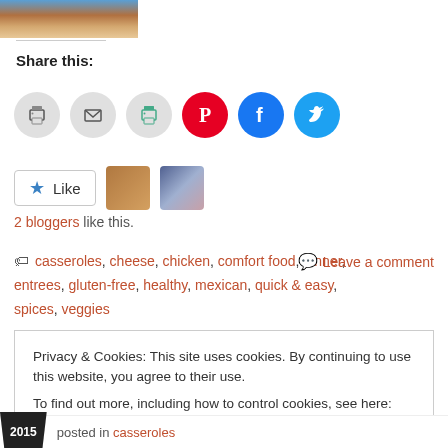[Figure (photo): Partial photo of two people smiling, cropped at top]
Share this:
[Figure (infographic): Row of share icons: print, email, print (green), Pinterest (red), Facebook (blue), Twitter (light blue)]
[Figure (infographic): Like button with star icon, and two blogger avatar thumbnails]
2 bloggers like this.
casseroles, cheese, chicken, comfort food, dinner, entrees, gluten-free, healthy, mexican, quick & easy, spices, veggies
Leave a comment
Privacy & Cookies: This site uses cookies. By continuing to use this website, you agree to their use.
To find out more, including how to control cookies, see here: Cookie Policy
Close and accept
2015  posted in casseroles